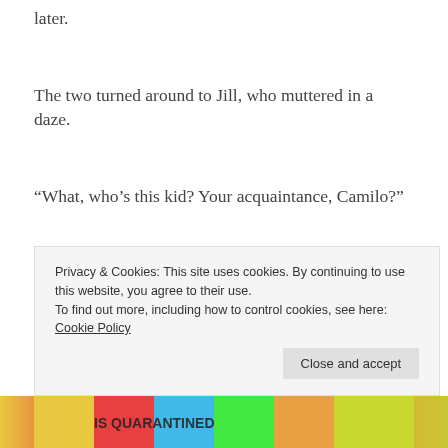later.
The two turned around to Jill, who muttered in a daze.
“What, who’s this kid? Your acquaintance, Camilo?”
“Shuuut up! Don’t mention my real name! Oh, sorry~ everything’s alright, I’m the kind Lady Camila! This is Zeke, but… I certainly don’t know this kid. I’m sorry, have we met somewhere? Oh my… what happened? Why are you
Privacy & Cookies: This site uses cookies. By continuing to use this website, you agree to their use.
To find out more, including how to control cookies, see here: Cookie Policy
Close and accept
[Figure (photo): Colorful banner image at the bottom of the page with rainbow/multicolor stripes and partial text overlay]